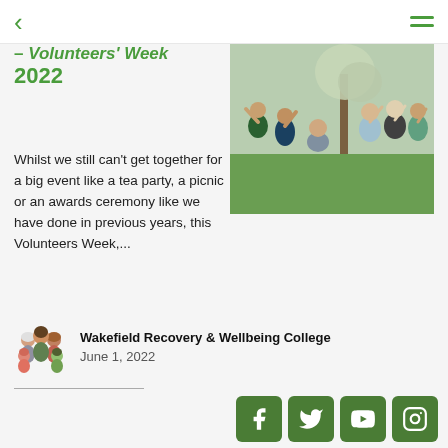< (back) ≡ (menu)
– Volunteers' Week 2022
[Figure (photo): Group of six women waving and posing outdoors in a garden setting with trees in the background]
Whilst we still can't get together for a big event like a tea party, a picnic or an awards ceremony like we have done in previous years, this Volunteers Week,...
Wakefield Recovery & Wellbeing College
June 1, 2022
Facebook Twitter YouTube Instagram social links